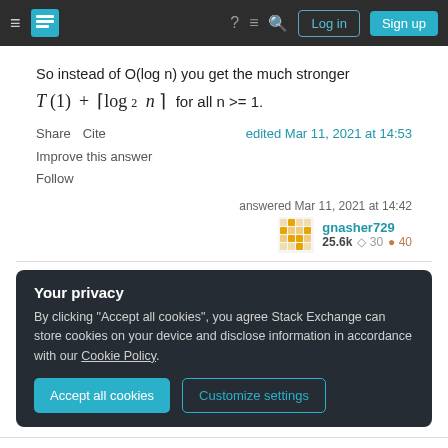Stack Exchange navigation bar with Log in and Sign up buttons
So instead of O(log n) you get the much stronger T(1) + ⌈log₂ n⌉ for all n >= 1.
Share  Cite   edited Mar 11, 2021 at 14:53
Improve this answer
Follow
answered Mar 11, 2021 at 14:42  gnasher729  25.6k  30  40
Your privacy
By clicking "Accept all cookies", you agree Stack Exchange can store cookies on your device and disclose information in accordance with our Cookie Policy.
Accept all cookies   Customize settings